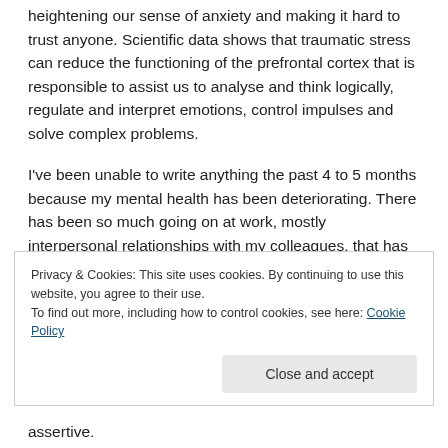heightening our sense of anxiety and making it hard to trust anyone. Scientific data shows that traumatic stress can reduce the functioning of the prefrontal cortex that is responsible to assist us to analyse and think logically, regulate and interpret emotions, control impulses and solve complex problems.
I've been unable to write anything the past 4 to 5 months because my mental health has been deteriorating. There has been so much going on at work, mostly interpersonal relationships with my colleagues, that has been very challenging because I find it very difficult to set
Privacy & Cookies: This site uses cookies. By continuing to use this website, you agree to their use.
To find out more, including how to control cookies, see here: Cookie Policy
assertive.